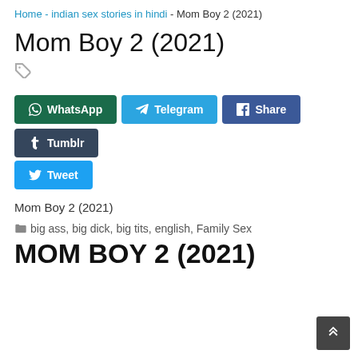Home - indian sex stories in hindi - Mom Boy 2 (2021)
Mom Boy 2 (2021)
Mom Boy 2 (2021)
big ass, big dick, big tits, english, Family Sex
MOM BOY 2 (2021)